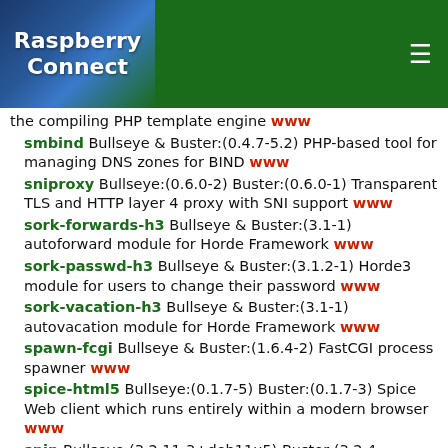Raspberry Connect
the compiling PHP template engine www
smbind Bullseye & Buster:(0.4.7-5.2) PHP-based tool for managing DNS zones for BIND www
sniproxy Bullseye:(0.6.0-2) Buster:(0.6.0-1) Transparent TLS and HTTP layer 4 proxy with SNI support www
sork-forwards-h3 Bullseye & Buster:(3.1-1) autoforward module for Horde Framework www
sork-passwd-h3 Bullseye & Buster:(3.1.2-1) Horde3 module for users to change their password www
sork-vacation-h3 Bullseye & Buster:(3.1-1) autovacation module for Horde Framework www
spawn-fcgi Bullseye & Buster:(1.6.4-2) FastCGI process spawner www
spice-html5 Bullseye:(0.1.7-5) Buster:(0.1.7-3) Spice Web client which runs entirely within a modern browser www
spip Bullseye:(3.2.11-3+deb11u5) Buster:(3.2.4-1+deb10u9) website engine for publishing www
spotweb Bullseye:(20130826+dfsg3-4.1) Buster:(20130826+dfsg3-4) web interface to search and filter Usenet spots www